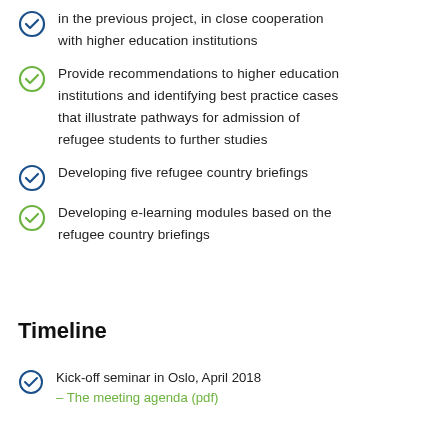in the previous project, in close cooperation with higher education institutions
Provide recommendations to higher education institutions and identifying best practice cases that illustrate pathways for admission of refugee students to further studies
Developing five refugee country briefings
Developing e-learning modules based on the refugee country briefings
Timeline
Kick-off seminar in Oslo, April 2018
– The meeting agenda (pdf)